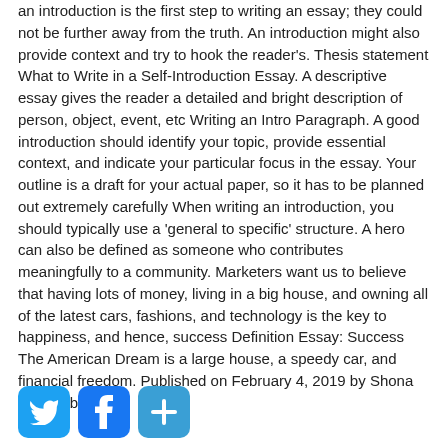an introduction is the first step to writing an essay; they could not be further away from the truth. An introduction might also provide context and try to hook the reader's. Thesis statement What to Write in a Self-Introduction Essay. A descriptive essay gives the reader a detailed and bright description of person, object, event, etc Writing an Intro Paragraph. A good introduction should identify your topic, provide essential context, and indicate your particular focus in the essay. Your outline is a draft for your actual paper, so it has to be planned out extremely carefully When writing an introduction, you should typically use a 'general to specific' structure. A hero can also be defined as someone who contributes meaningfully to a community. Marketers want us to believe that having lots of money, living in a big house, and owning all of the latest cars, fashions, and technology is the key to happiness, and hence, success Definition Essay: Success The American Dream is a large house, a speedy car, and financial freedom. Published on February 4, 2019 by Shona McCombes.
[Figure (infographic): Three social media share buttons: Twitter (blue bird icon), Facebook (blue f icon), and a blue plus/add button]